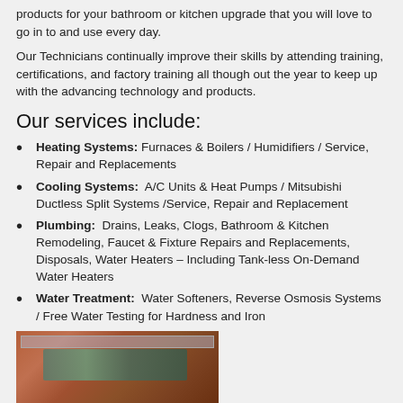products for your bathroom or kitchen upgrade that you will love to go in to and use every day.
Our Technicians continually improve their skills by attending training, certifications, and factory training all though out the year to keep up with the advancing technology and products.
Our services include:
Heating Systems: Furnaces & Boilers / Humidifiers / Service, Repair and Replacements
Cooling Systems: A/C Units & Heat Pumps / Mitsubishi Ductless Split Systems /Service, Repair and Replacement
Plumbing: Drains, Leaks, Clogs, Bathroom & Kitchen Remodeling, Faucet & Fixture Repairs and Replacements, Disposals, Water Heaters – Including Tank-less On-Demand Water Heaters
Water Treatment: Water Softeners, Reverse Osmosis Systems / Free Water Testing for Hardness and Iron
[Figure (photo): Photo of plumbing or heating equipment mounted on a brick wall]